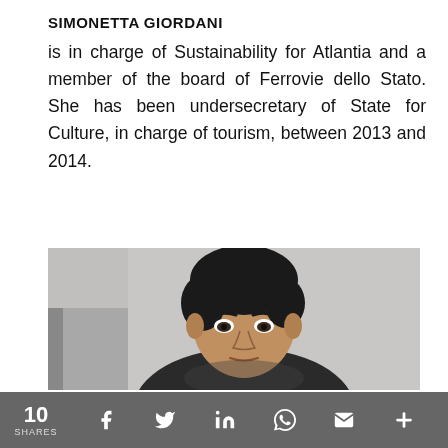SIMONETTA GIORDANI
is in charge of Sustainability for Atlantia and a member of the board of Ferrovie dello Stato. She has been undersecretary of State for Culture, in charge of tourism, between 2013 and 2014.
[Figure (photo): Portrait photo of a man with dark hair, looking directly at the camera, wearing a dark jacket, against a light grey background.]
10 SHARES  [Facebook] [Twitter] [LinkedIn] [WhatsApp] [Email] [More]